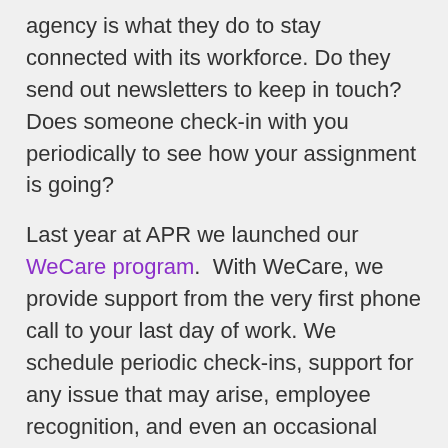agency is what they do to stay connected with its workforce. Do they send out newsletters to keep in touch? Does someone check-in with you periodically to see how your assignment is going?
Last year at APR we launched our WeCare program. With WeCare, we provide support from the very first phone call to your last day of work. We schedule periodic check-ins, support for any issue that may arise, employee recognition, and even an occasional giveaway. We also send out quarterly newsletters to keep our work force updated with any information that might apply to their job.
Keep these warning signs in mind when considering a staffing firm or temp agency to work for. If you've ever experienced something that isn't on the list, let us know and comment below!